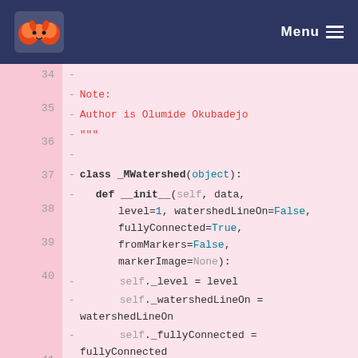Menu
[Figure (screenshot): Code viewer showing Python class definition for _MWatershed, lines 34-45, with syntax highlighting on a pink background. Line numbers shown in left gutter. Navigation header with logo and Menu button at top.]